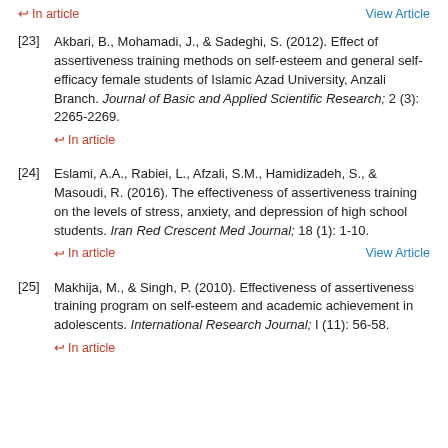↩ In article   View Article
[23] Akbari, B., Mohamadi, J., & Sadeghi, S. (2012). Effect of assertiveness training methods on self-esteem and general self-efficacy female students of Islamic Azad University, Anzali Branch. Journal of Basic and Applied Scientific Research; 2 (3): 2265-2269.
↩ In article
[24] Eslami, A.A., Rabiei, L., Afzali, S.M., Hamidizadeh, S., & Masoudi, R. (2016). The effectiveness of assertiveness training on the levels of stress, anxiety, and depression of high school students. Iran Red Crescent Med Journal; 18 (1): 1-10.
↩ In article   View Article
[25] Makhija, M., & Singh, P. (2010). Effectiveness of assertiveness training program on self-esteem and academic achievement in adolescents. International Research Journal; I (11): 56-58.
↩ In article